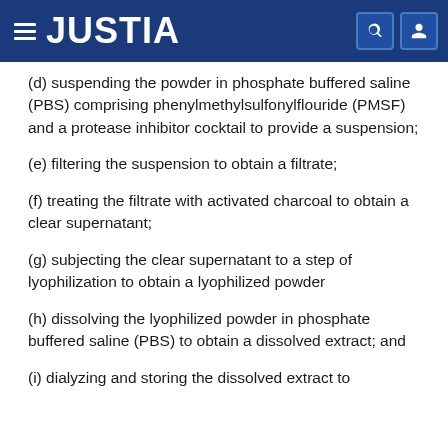JUSTIA
(d) suspending the powder in phosphate buffered saline (PBS) comprising phenylmethylsulfonylflouride (PMSF) and a protease inhibitor cocktail to provide a suspension;
(e) filtering the suspension to obtain a filtrate;
(f) treating the filtrate with activated charcoal to obtain a clear supernatant;
(g) subjecting the clear supernatant to a step of lyophilization to obtain a lyophilized powder
(h) dissolving the lyophilized powder in phosphate buffered saline (PBS) to obtain a dissolved extract; and
(i) dialyzing and storing the dissolved extract to